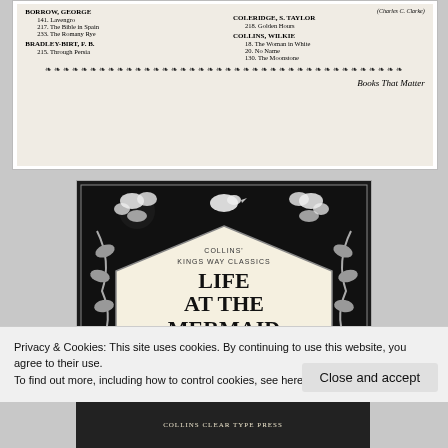[Figure (illustration): Scanned page from a book catalogue showing two columns of authors and book entries including Borrow George (Lavengro, The Bible in Spain, The Romany Rye), Bradley-Birt F.B. (Through Persia), Coleridge S. Taylor (Golden Hours), Collins Wilkie (The Woman in White, No Name, The Moonstone), with decorative border and italic text 'Books That Matter']
[Figure (illustration): Book cover for 'Life at the Mermaid' from Collins Kings Way Classics series, featuring ornate Art Nouveau style black and white decorative border with floral and bird motifs surrounding a diamond-shaped white panel with the title text]
Privacy & Cookies: This site uses cookies. By continuing to use this website, you agree to their use.
To find out more, including how to control cookies, see here: Cookie Policy
[Figure (photo): Partial bottom strip of another book showing Collins Clear Type Press text]